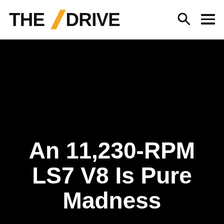THE DRIVE
[Figure (photo): Large black hero image area with no visible content, occupying the main body of the page below the header.]
An 11,230-RPM LS7 V8 Is Pure Madness